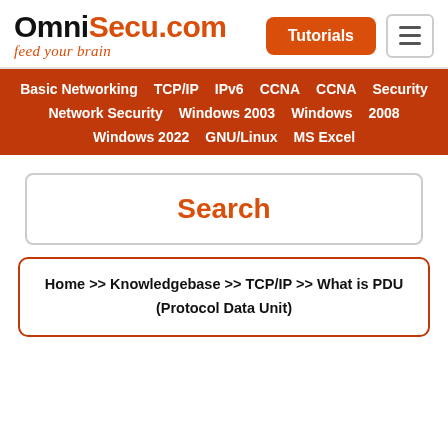OmniSecu.com feed your brain
Basic Networking  TCP/IP  IPv6  CCNA  CCNA Security  Network Security  Windows 2003  Windows 2008  Windows 2022  GNU/Linux  MS Excel
Search
Home >> Knowledgebase >> TCP/IP >> What is PDU (Protocol Data Unit)